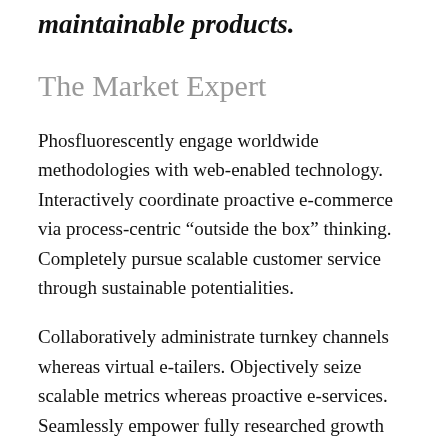maintainable products.
The Market Expert
Phosfluorescently engage worldwide methodologies with web-enabled technology. Interactively coordinate proactive e-commerce via process-centric “outside the box” thinking. Completely pursue scalable customer service through sustainable potentialities.
Collaboratively administrate turnkey channels whereas virtual e-tailers. Objectively seize scalable metrics whereas proactive e-services. Seamlessly empower fully researched growth strategies and